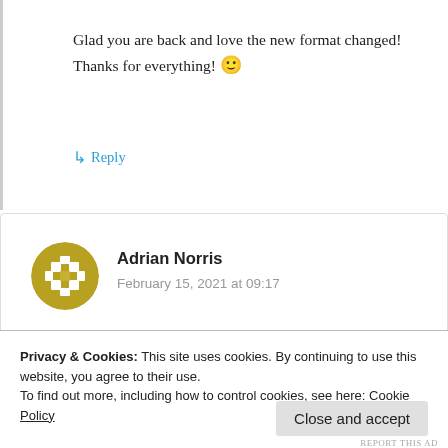Glad you are back and love the new format changed! Thanks for everything! 🙂
↳ Reply
Adrian Norris
February 15, 2021 at 09:17
Welcome back!
Privacy & Cookies: This site uses cookies. By continuing to use this website, you agree to their use.
To find out more, including how to control cookies, see here: Cookie Policy
Close and accept
REPORT THIS AD